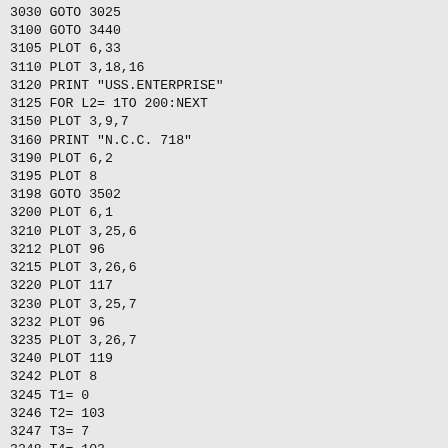3030 GOTO 3025
3100 GOTO 3440
3105 PLOT 6,33
3110 PLOT 3,18,16
3120 PRINT "USS.ENTERPRISE"
3125 FOR L2= 1TO 200:NEXT
3150 PLOT 3,9,7
3160 PRINT "N.C.C. 718"
3190 PLOT 6,2
3195 PLOT 8
3198 GOTO 3502
3200 PLOT 6,1
3210 PLOT 3,25,6
3212 PLOT 96
3215 PLOT 3,26,6
3220 PLOT 117
3230 PLOT 3,25,7
3232 PLOT 96
3235 PLOT 3,26,7
3240 PLOT 119
3242 PLOT 8
3245 T1= 0
3246 T2= 103
3247 T3= 7
3248 T4= 103
3250 PLOT 2,T1,T2,242,T3,T4,255
3254 IF T4< 98THEN 3270
3260 T4= T4- .2
3265 GOTO 3250
3270 T1= 2